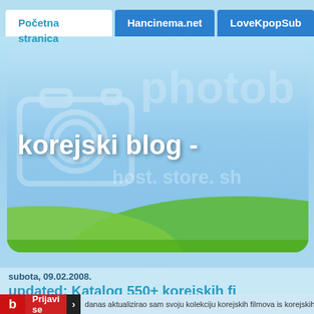Početna stranica | Hancinema.net | LoveKpopSub
[Figure (screenshot): Banner image for 'korejski blog' with photobucket watermark, camera icon outline, green hills landscape, and blog title text overlay]
subota, 09.02.2008.
updated: Katalog 550+ korejskih fi
danas aktualizirao sam svoju kolekciju korejskih filmova is korejskih filmova koje posjedujem u divx obliku. Ovo